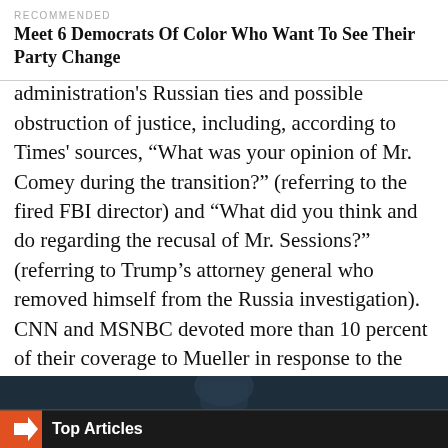RECOMMENDED
Meet 6 Democrats Of Color Who Want To See Their Party Change
administration's Russian ties and possible obstruction of justice, including, according to Times' sources, “What was your opinion of Mr. Comey during the transition?” (referring to the fired FBI director) and “What did you think and do regarding the recusal of Mr. Sessions?” (referring to Trump’s attorney general who removed himself from the Russia investigation). CNN and MSNBC devoted more than 10 percent of their coverage to Mueller in response to the news; Fox ticked above 7 percent.
May 4-5
Recent Stories from FiveThirtyEight
[Figure (photo): Dark background image of a basketball player, with a 'Top Articles' overlay bar at the bottom featuring an orange arrow icon]